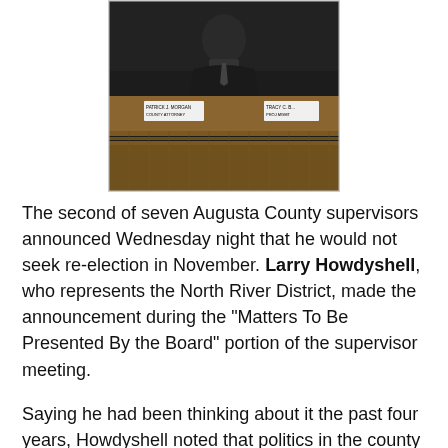[Figure (photo): A man seated at a government board/supervisors meeting dais, with wooden nameplate panel visible. Two name placards visible on the wooden desk surface.]
The second of seven Augusta County supervisors announced Wednesday night that he would not seek re-election in November. Larry Howdyshell, who represents the North River District, made the announcement during the "Matters To Be Presented By the Board" portion of the supervisor meeting.
Saying he had been thinking about it the past four years, Howdyshell noted that politics in the county had changed along with attitudes, and that he wanted to spend time with his grandchildren.
He didn't elaborate on what the changes were or the